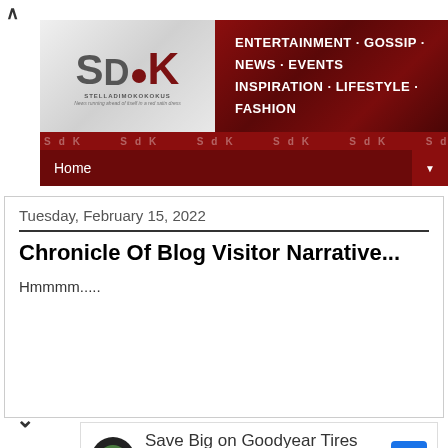[Figure (logo): SDK (StelladiMokokoKus) blog website header with logo on grey background and dark red banner with text: ENTERTAINMENT · GOSSIP · NEWS · EVENTS INSPIRATION · LIFESTYLE · FASHION]
Home
Tuesday, February 15, 2022
Chronicle Of Blog Visitor Narrative...
Hmmmm.....
[Figure (screenshot): Advertisement: Save Big on Goodyear Tires - Virginia Tire & Auto of Ashburn with green auto logo and blue navigation arrow icon]